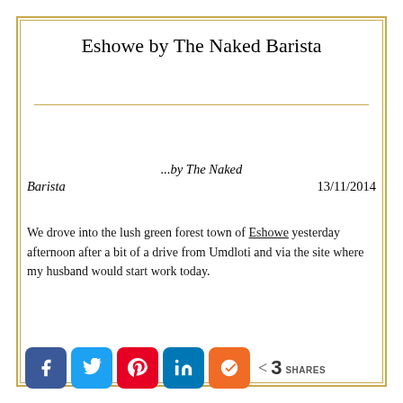Eshowe by The Naked Barista
...by The Naked Barista  13/11/2014
We drove into the lush green forest town of Eshowe yesterday afternoon after a bit of a drive from Umdloti and via the site where my husband would start work today.